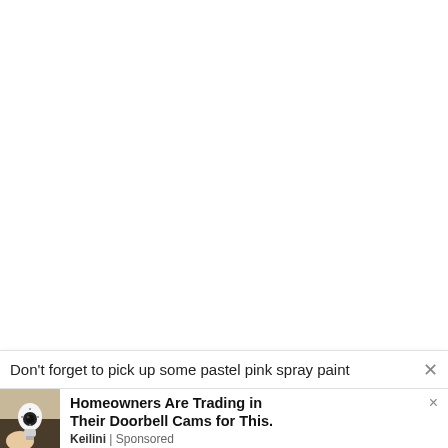[Figure (screenshot): Large white blank area occupying the top portion of the page, appearing to be a web page background or content area above an advertisement overlay.]
Don't forget to pick up some pastel pink spray paint
[Figure (screenshot): Advertisement banner at the bottom of the page showing a light bulb security camera product. Left side shows a photo of a hand holding a white bulb-shaped security camera. Right side shows ad text: 'Homeowners Are Trading in Their Doorbell Cams for This.' with source 'Keilini | Sponsored'. There is an X close button in the top right.]